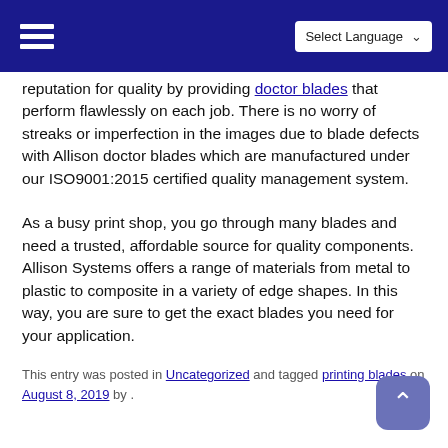Select Language
reputation for quality by providing doctor blades that perform flawlessly on each job. There is no worry of streaks or imperfection in the images due to blade defects with Allison doctor blades which are manufactured under our ISO9001:2015 certified quality management system.
As a busy print shop, you go through many blades and need a trusted, affordable source for quality components.   Allison Systems offers a range of materials from metal to plastic to composite in a variety of edge shapes. In this way, you are sure to get the exact blades you need for your application.
This entry was posted in Uncategorized and tagged printing blades on August 8, 2019 by .